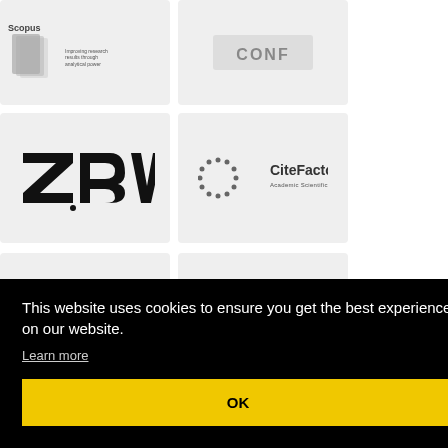[Figure (logo): Scopus logo with tagline 'Improving research results through analytical power']
[Figure (logo): Gray stylized embossed logo (CONF or similar)]
[Figure (logo): ZBW logo in bold black text]
[Figure (logo): CiteFactor Academic Scientific Journal logo with dot-circle emblem]
[Figure (logo): L-Università ta' Malta logo with crest]
[Figure (logo): Gray angular chevron/arrow logo]
This website uses cookies to ensure you get the best experience on our website.
Learn more
OK